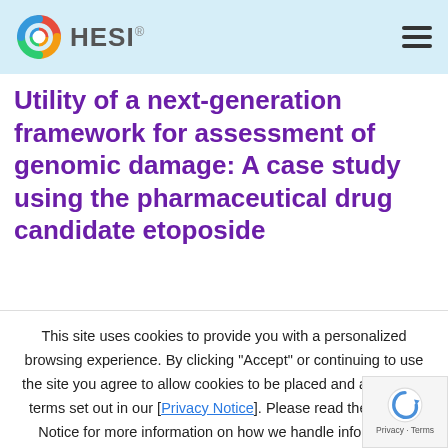HESI
Utility of a next-generation framework for assessment of genomic damage: A case study using the pharmaceutical drug candidate etoposide
This site uses cookies to provide you with a personalized browsing experience. By clicking “Accept” or continuing to use the site you agree to allow cookies to be placed and accept the terms set out in our [Privacy Notice]. Please read the Privacy Notice for more information on how we handle information collected from users and how you can control the use information.
Cookie settings   ACCEPT